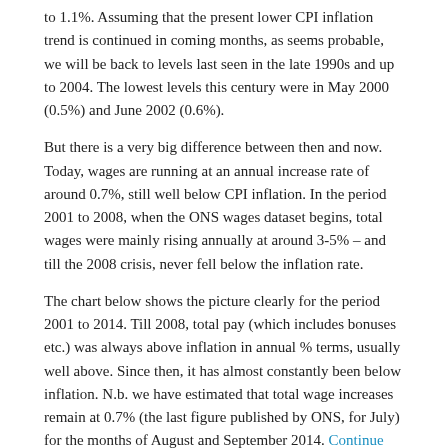to 1.1%.  Assuming that the present lower CPI inflation trend is continued in coming months, as seems probable, we will be back to levels last seen in the late 1990s and up to 2004.  The lowest levels this century were in May 2000 (0.5%) and June 2002 (0.6%).
But there is a very big difference between then and now.  Today, wages are running at an annual increase rate of around 0.7%, still well below CPI inflation.  In the period 2001 to 2008, when the ONS wages dataset begins, total wages were mainly rising annually at around 3-5% – and till the 2008 crisis, never fell below the inflation rate.
The chart below shows the picture clearly for the period 2001 to 2014.  Till 2008, total pay (which includes bonuses etc.) was always above inflation in annual % terms, usually well above. Since then, it has almost constantly been below inflation.  N.b. we have estimated that total wage increases remain at 0.7% (the last figure published by ONS, for July) for the months of August and September 2014. Continue reading →
Share:
Tweet   More
October 15, 2014